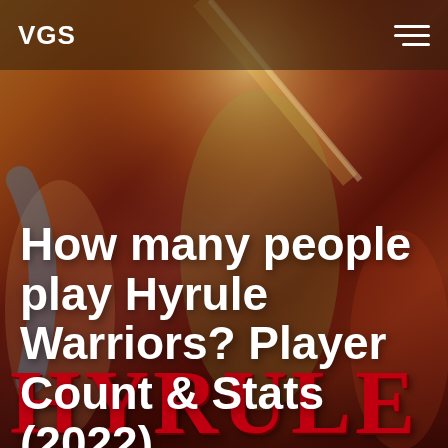VGS
How many people play Hyrule Warriors? Player Count & Stats (2022)
LAST UPDATED ON: OCTOBER 17TH, 2020
[Figure (photo): Hyrule Warriors video game cover art showing Link and other characters in action poses, with the HYRULE Warriors logo at the bottom in bold red letters. Warm orange/red toned background with fantasy battle scene.]